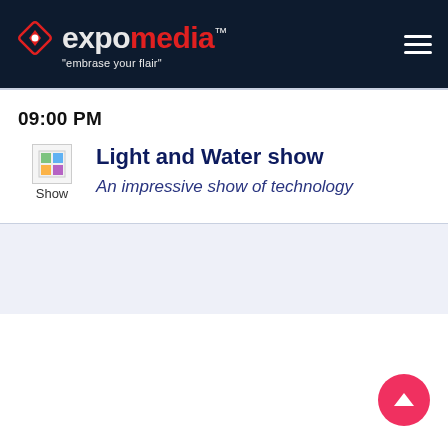[Figure (logo): expomedia logo with diamond icon, red and white text, tagline 'embrase your flair', hamburger menu icon on dark navy background]
09:00 PM
Light and Water show
An impressive show of technology